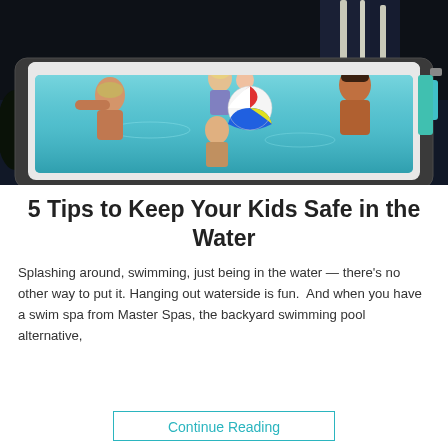[Figure (photo): A family of five enjoying a large swim spa/hot tub at night. A woman in the background holds a young child, a man on the right smiles, a teenage boy on the left leans against the edge, and a child in the center holds up a colorful beach ball. The spa is white with a dark gray exterior, set against a dark background with plants.]
5 Tips to Keep Your Kids Safe in the Water
Splashing around, swimming, just being in the water — there's no other way to put it. Hanging out waterside is fun.  And when you have a swim spa from Master Spas, the backyard swimming pool alternative,
Continue Reading